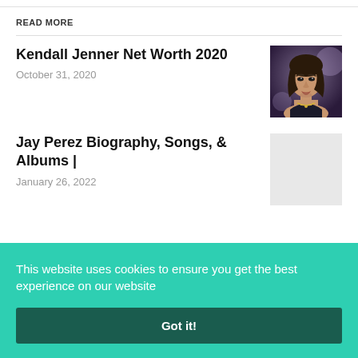READ MORE
Kendall Jenner Net Worth 2020
October 31, 2020
[Figure (photo): Photo of Kendall Jenner, a woman with dark hair wearing a necklace]
Jay Perez Biography, Songs, & Albums |
January 26, 2022
[Figure (photo): Placeholder image (light gray rectangle)]
This website uses cookies to ensure you get the best experience on our website
Got it!